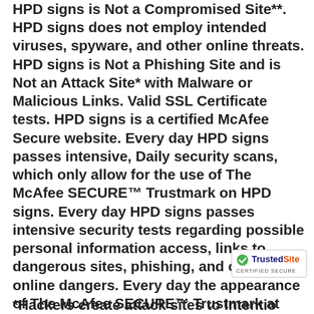HPD signs is Not a Compromised Site**. HPD signs does not employ intended viruses, spyware, and other online threats. HPD signs is Not a Phishing Site and is Not an Attack Site* with Malware or Malicious Links. Valid SSL Certificate tests. HPD signs is a certified McAfee Secure website. Every day HPD signs passes intensive, Daily security scans, which only allow for the use of The McAfee SECURE™ Trustmark on HPD signs. Every day HPD signs passes intensive security tests regarding possible personal information access, links to dangerous sites, phishing, and other online dangers. Every day the appearance of The McAfee SECURE™ Trustmark at HPD signs certifies that HPD signs passes intensive daily security tests.
[Figure (logo): TrustedSite CERTIFIED SECURE badge with green checkmark]
*Hackers create attack sites to intentio...